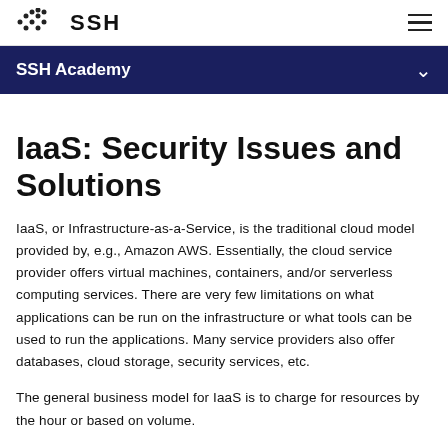SSH Academy
IaaS: Security Issues and Solutions
IaaS, or Infrastructure-as-a-Service, is the traditional cloud model provided by, e.g., Amazon AWS. Essentially, the cloud service provider offers virtual machines, containers, and/or serverless computing services. There are very few limitations on what applications can be run on the infrastructure or what tools can be used to run the applications. Many service providers also offer databases, cloud storage, security services, etc.
The general business model for IaaS is to charge for resources by the hour or based on volume.